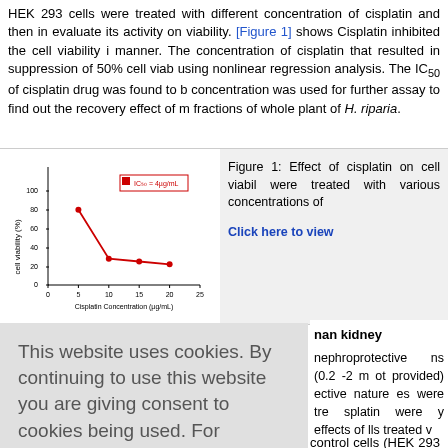HEK 293 cells were treated with different concentration of cisplatin and then in evaluate its activity on viability. [Figure 1] shows Cisplatin inhibited the cell viability i manner. The concentration of cisplatin that resulted in suppression of 50% cell viab using nonlinear regression analysis. The IC50 of cisplatin drug was found to b concentration was used for further assay to find out the recovery effect of m fractions of whole plant of H. riparia.
[Figure (continuous-plot): Line chart showing cell viability (%) vs Cisplatin Concentration (µg/mL). Y-axis 0-100%, X-axis 0-25 µg/mL. Red line decreasing from ~80% at 5 µg/mL down to ~25% at 10 and continuing flat at ~22% to 20 µg/mL. Legend shows IC50 = 4µg/mL in red box.]
Figure 1: Effect of cisplatin on cell viability. HEK 293 cells were treated with various concentrations of cisplatin.
This website uses cookies. By continuing to use this website you are giving consent to cookies being used. For information on cookies and how you can disable them visit our Privacy and Cookie Policy.
nan kidney nephroprotective ns (0.2 -2 m ot provided) ective natur es were tre splatin were y effects of lls treated v
of H. riparia was higher than that of the non-treated control cells (HEK 293 cells tre